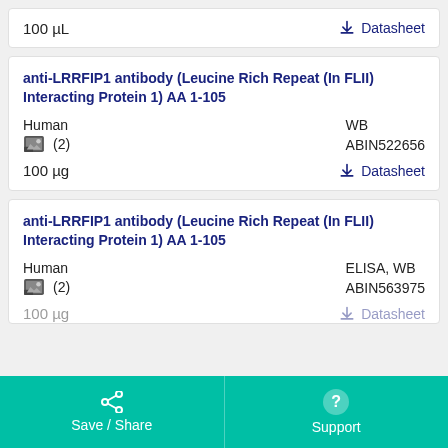100 µL
Datasheet
anti-LRRFIP1 antibody (Leucine Rich Repeat (In FLII) Interacting Protein 1) AA 1-105
Human
(2)
WB
ABIN522656
100 µg
Datasheet
anti-LRRFIP1 antibody (Leucine Rich Repeat (In FLII) Interacting Protein 1) AA 1-105
Human
(2)
ELISA, WB
ABIN563975
100 µg
Datasheet
Save / Share
Support